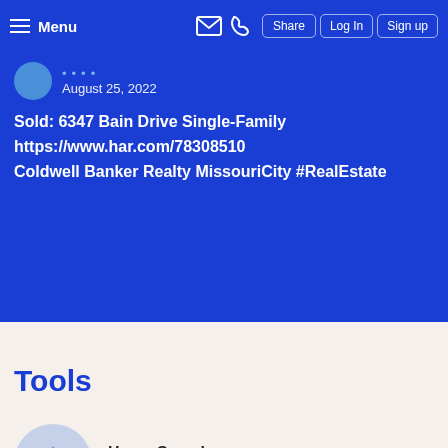Menu | Share | Log In | Sign up
August 25, 2022
Sold: 6347 Bain Drive Single-Family https://www.har.com/78308510 Coldwell Banker Realty MissouriCity #RealEstate
Tools
Home Search
Search for homes and condos